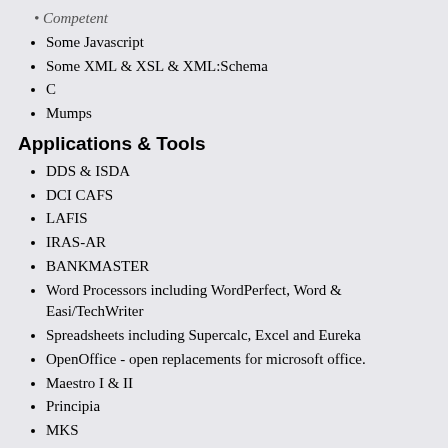Competent
Some Javascript
Some XML & XSL & XML:Schema
C
Mumps
Applications & Tools
DDS & ISDA
DCI CAFS
LAFIS
IRAS-AR
BANKMASTER
Word Processors including WordPerfect, Word & Easi/TechWriter
Spreadsheets including Supercalc, Excel and Eureka
OpenOffice - open replacements for microsoft office.
Maestro I & II
Principia
MKS
Most recent employment